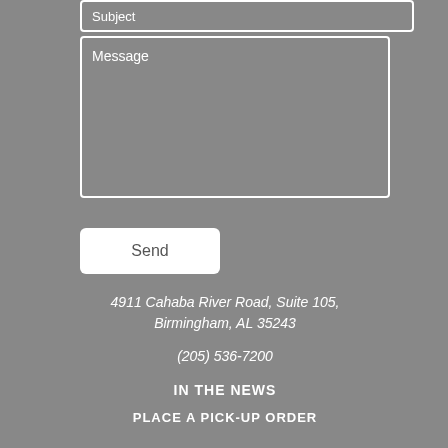[Figure (screenshot): A web contact form partial view showing a Subject input field (partially visible at top), a Message textarea, a Send button, and contact info below on a gray background.]
Subject
Message
Send
4911 Cahaba River Road, Suite 105, Birmingham, AL 35243
(205) 536-7200
IN THE NEWS
PLACE A PICK-UP ORDER